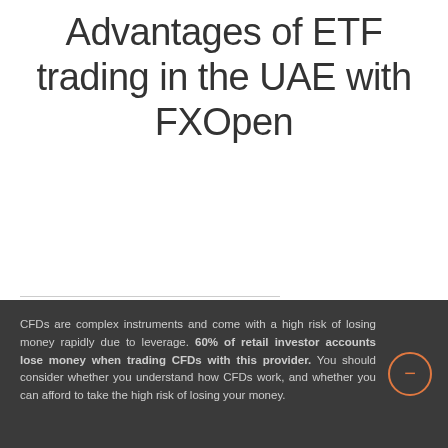Advantages of ETF trading in the UAE with FXOpen
[Figure (other): Live Chat button widget, salmon/orange colored, with chat icon and 'Live Chat' label]
CFDs are complex instruments and come with a high risk of losing money rapidly due to leverage. 60% of retail investor accounts lose money when trading CFDs with this provider. You should consider whether you understand how CFDs work, and whether you can afford to take the high risk of losing your money.